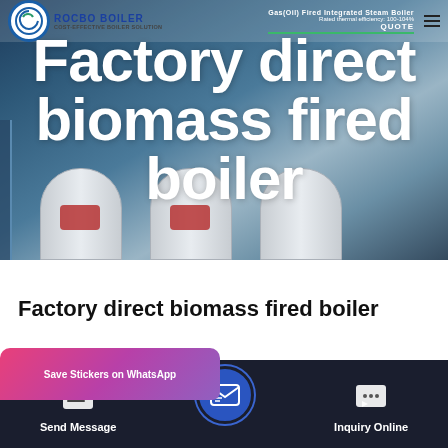[Figure (photo): Hero banner showing industrial biomass fired boilers in a factory setting with dark blue/teal background. Rocbo Boiler logo and navigation bar at top with GET QUOTE button.]
Factory direct biomass fired boiler
[Figure (infographic): Bottom dark navigation bar with WhatsApp sticker save bubble (pink/purple gradient), Send Message button with document icon, central blue email/message circle button, and Inquiry Online button with chat icon.]
Send Message
Inquiry Online